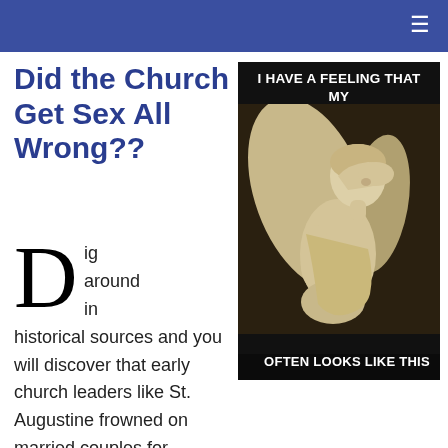≡
Did the Church Get Sex All Wrong??
[Figure (photo): A meme image of an angel statue (white marble, winged figure with head resting on hand in a facepalm pose) on a dark background, with text overlay reading 'I HAVE A FEELING THAT MY GUARDIAN ANGEL' at the top and 'OFTEN LOOKS LIKE THIS' at the bottom.]
Dig around in historical sources and you will discover that early church leaders like St. Augustine frowned on married couples for engaging in sex